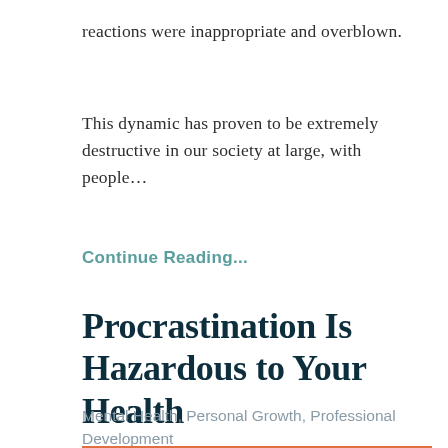reactions were inappropriate and overblown.
This dynamic has proven to be extremely destructive in our society at large, with people...
Continue Reading...
Procrastination Is Hazardous to Your Health
Mental Health, Personal Growth, Professional Development